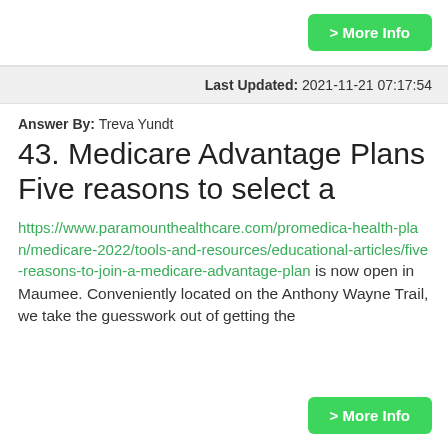[Figure (other): Green 'More Info' button in top right corner]
Last Updated: 2021-11-21 07:17:54
Answer By: Treva Yundt
43. Medicare Advantage Plans Five reasons to select a
https://www.paramounthealthcare.com/promedica-health-plan/medicare-2022/tools-and-resources/educational-articles/five-reasons-to-join-a-medicare-advantage-plan is now open in Maumee. Conveniently located on the Anthony Wayne Trail, we take the guesswork out of getting the
[Figure (other): Green 'More Info' button in bottom right corner]